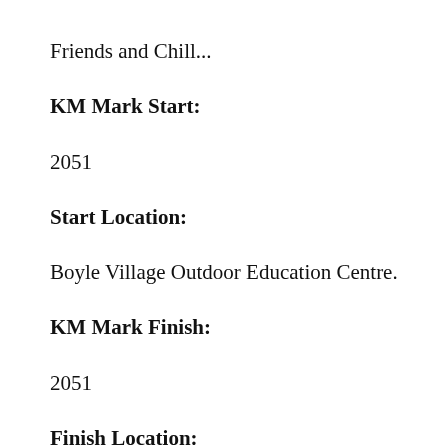Friends and Chill...
KM Mark Start:
2051
Start Location:
Boyle Village Outdoor Education Centre.
KM Mark Finish:
2051
Finish Location: